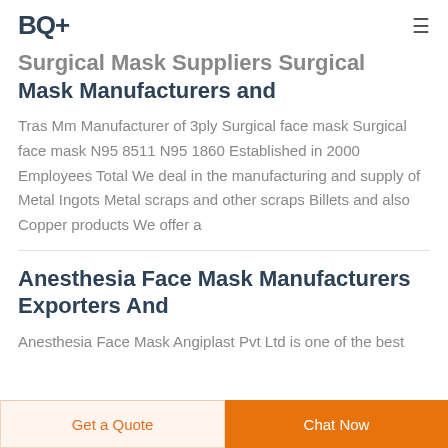BQ+
Surgical Mask Suppliers Surgical Mask Manufacturers and
Tras Mm Manufacturer of 3ply Surgical face mask Surgical face mask N95 8511 N95 1860 Established in 2000 Employees Total We deal in the manufacturing and supply of Metal Ingots Metal scraps and other scraps Billets and also Copper products We offer a
Anesthesia Face Mask Manufacturers Exporters And
Anesthesia Face Mask Angiplast Pvt Ltd is one of the best
Get a Quote | Chat Now